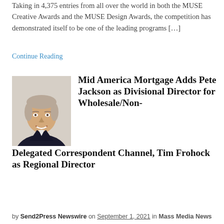Taking in 4,375 entries from all over the world in both the MUSE Creative Awards and the MUSE Design Awards, the competition has demonstrated itself to be one of the leading programs […]
Continue Reading
[Figure (photo): Headshot of a man in a dark blazer, smiling, with gray-blonde hair, against a light background.]
Mid America Mortgage Adds Pete Jackson as Divisional Director for Wholesale/Non-Delegated Correspondent Channel, Tim Frohock as Regional Director
by Send2Press Newswire on September 1, 2021 in Mass Media News